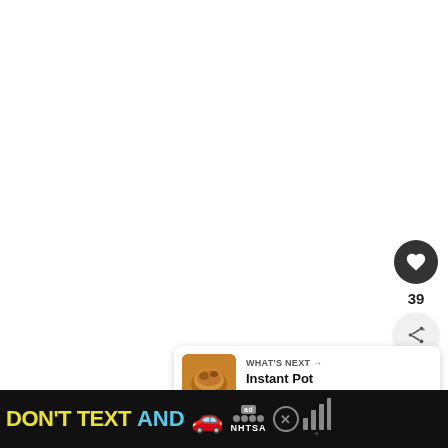[Figure (screenshot): White blank main content area of a mobile recipe app page]
[Figure (infographic): UI controls on right side: dark circle heart/like button, count '39', light circle share button with share+ icon]
39
[Figure (infographic): What's Next card: thumbnail of Instant Pot Turkey dish, label 'WHAT'S NEXT →', title 'Instant Pot Turkey Brea...']
[Figure (infographic): NHTSA ad banner: 'DON'T TEXT AND [car emoji]' with ad badge, NHTSA logo, close X button, weather signal icon on black background]